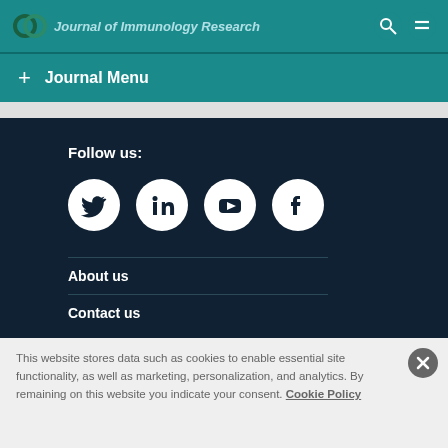Journal of Immunology Research
+ Journal Menu
Follow us:
[Figure (other): Social media icons: Twitter, LinkedIn, YouTube, Facebook — white icons on dark navy circular backgrounds]
About us
Contact us
This website stores data such as cookies to enable essential site functionality, as well as marketing, personalization, and analytics. By remaining on this website you indicate your consent. Cookie Policy